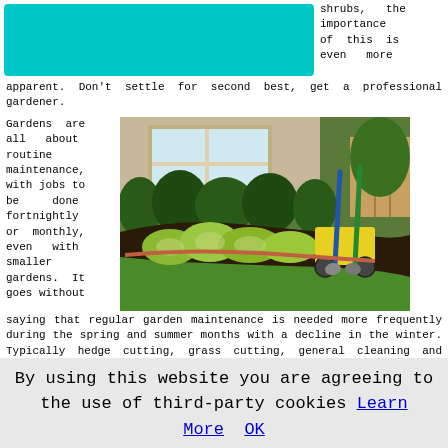[Figure (photo): Cyan/teal colored banner image at top left, partially visible]
shrubs, the importance of this is even more apparent. Don't settle for second best, get a professional gardener.
Gardens are all about routine maintenance, with jobs to be done fortnightly or monthly, even with smaller gardens. It goes without saying that regular garden maintenance is needed more frequently during the spring and summer months with a decline in the winter. Typically hedge cutting, grass cutting, general cleaning and weeding are the more common
[Figure (photo): Garden photo showing a curved flower bed with hostas and dark mulch, a yellow garden cart, and shovels leaning against it, with green shrubs and a house in the background]
By using this website you are agreeing to the use of third-party cookies Learn More OK